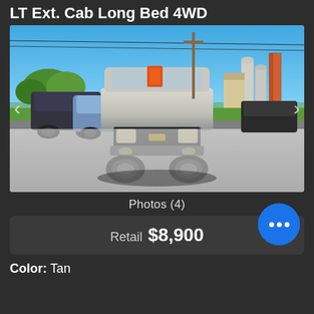LT Ext. Cab Long Bed 4WD
[Figure (photo): Front-facing view of a silver Chevrolet extended cab long bed 4WD pickup truck in a gravel dealership lot, with other vehicles and grain silos visible in the background under a blue sky.]
Photos (4)
Retail  $8,900
Color: Tan